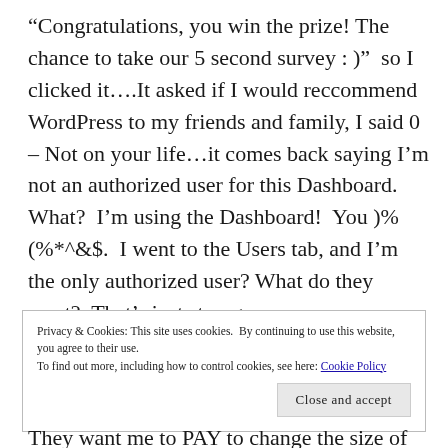“Congratulations, you win the prize! The chance to take our 5 second survey : )”  so I clicked it….It asked if I would reccommend WordPress to my friends and family, I said 0 – Not on your life…it comes back saying I’m not an authorized user for this Dashboard. What?  I’m using the Dashboard!  You )%(%*^&$.  I went to the Users tab, and I’m the only authorized user? What do they want?  That’s just strange.
Privacy & Cookies: This site uses cookies. By continuing to use this website, you agree to their use.
To find out more, including how to control cookies, see here: Cookie Policy
Close and accept
They want me to PAY to change the size of my Font!  I